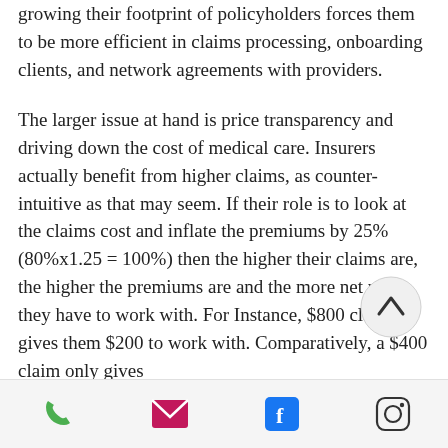growing their footprint of policyholders forces them to be more efficient in claims processing, onboarding clients, and network agreements with providers.
The larger issue at hand is price transparency and driving down the cost of medical care. Insurers actually benefit from higher claims, as counter-intuitive as that may seem. If their role is to look at the claims cost and inflate the premiums by 25%(80%x1.25 = 100%) then the higher their claims are, the higher the premiums are and the more net profit they have to work with. For Instance, $800 claim gives them $200 to work with. Comparatively, a $400 claim only gives
[Figure (other): Circular scroll-up button with upward-pointing chevron/caret arrow]
[Figure (other): Bottom navigation bar with phone icon (green), email/envelope icon (magenta), Facebook icon (blue), and Instagram icon (black outline)]